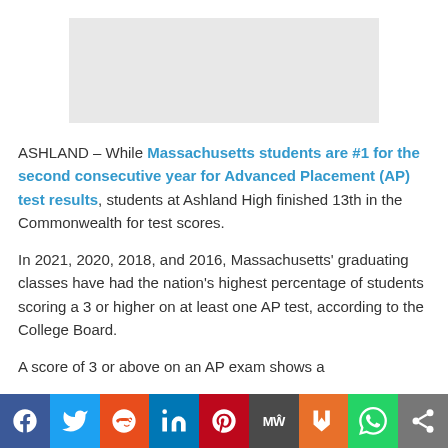[Figure (other): Advertisement placeholder banner, gray rectangle]
ASHLAND – While Massachusetts students are #1 for the second consecutive year for Advanced Placement (AP) test results, students at Ashland High finished 13th in the Commonwealth for test scores.
In 2021, 2020, 2018, and 2016, Massachusetts' graduating classes have had the nation's highest percentage of students scoring a 3 or higher on at least one AP test, according to the College Board.
A score of 3 or above on an AP exam shows a
[Figure (other): Social sharing bar with buttons: Facebook, Twitter, Reddit, LinkedIn, Pinterest, MeWe, Mix, WhatsApp, Share]